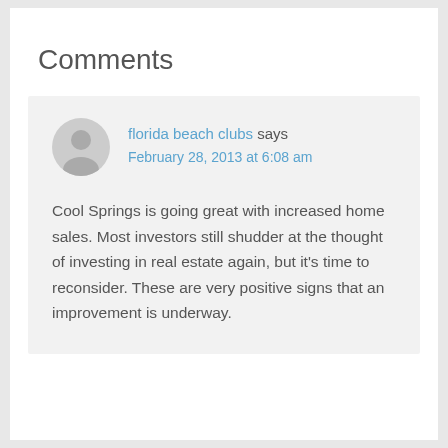Comments
florida beach clubs says
February 28, 2013 at 6:08 am
Cool Springs is going great with increased home sales. Most investors still shudder at the thought of investing in real estate again, but it's time to reconsider. These are very positive signs that an improvement is underway.